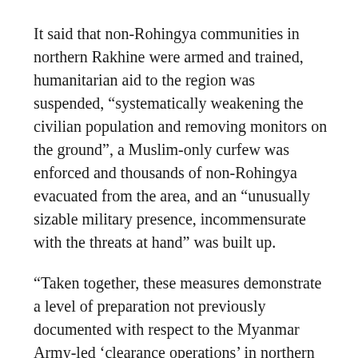It said that non-Rohingya communities in northern Rakhine were armed and trained, humanitarian aid to the region was suspended, “systematically weakening the civilian population and removing monitors on the ground”, a Muslim-only curfew was enforced and thousands of non-Rohingya evacuated from the area, and an “unusually sizable military presence, incommensurate with the threats at hand” was built up.
“Taken together, these measures demonstrate a level of preparation not previously documented with respect to the Myanmar Army-led ‘clearance operations’ in northern Rakhine State in 2016 and 2017,” the report says.